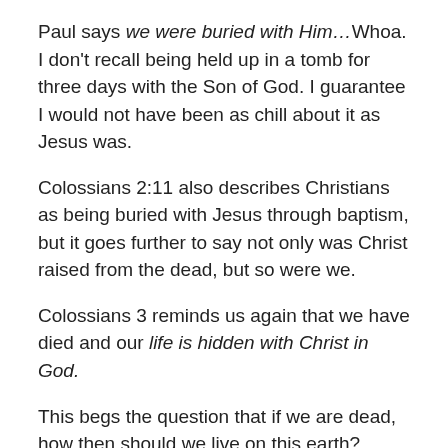Paul says we were buried with Him…Whoa. I don't recall being held up in a tomb for three days with the Son of God. I guarantee I would not have been as chill about it as Jesus was.
Colossians 2:11 also describes Christians as being buried with Jesus through baptism, but it goes further to say not only was Christ raised from the dead, but so were we.
Colossians 3 reminds us again that we have died and our life is hidden with Christ in God.
This begs the question that if we are dead, how then should we live on this earth?
It's hard to be dead and alive at the same time, even for the most gifted of people.